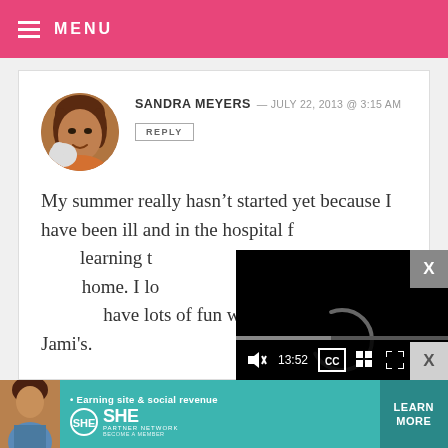MENU
SANDRA MEYERS — JULY 22, 2013 @ 3:15 AM
REPLY
My summer really hasn't started yet because I have been ill and in the hospital f... learning ... strength ... home. I l... make my ... have lots of fun with this new book of Jami's.
[Figure (screenshot): Video player overlay showing loading spinner and controls with timestamp 13:52]
[Figure (photo): SHE Partner Network advertisement banner with person photo and Learn More button]